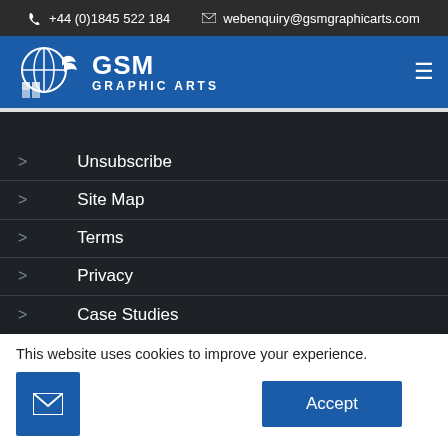+44 (0)1845 522 184   webenquiry@gsmgraphicarts.com
[Figure (logo): GSM Graphic Arts logo with globe/grid icon, white text on blue background]
Unsubscribe
Site Map
Terms
Privacy
Case Studies
This website uses cookies to improve your experience.
Accept